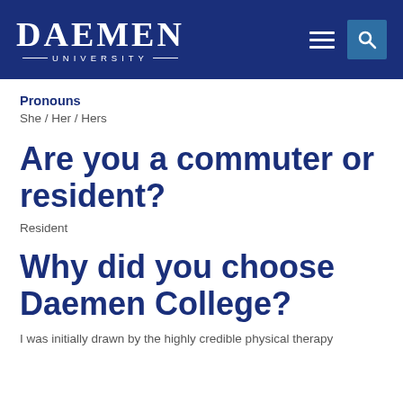DAEMEN UNIVERSITY
Pronouns
She / Her / Hers
Are you a commuter or resident?
Resident
Why did you choose Daemen College?
I was initially drawn by the highly credible physical therapy